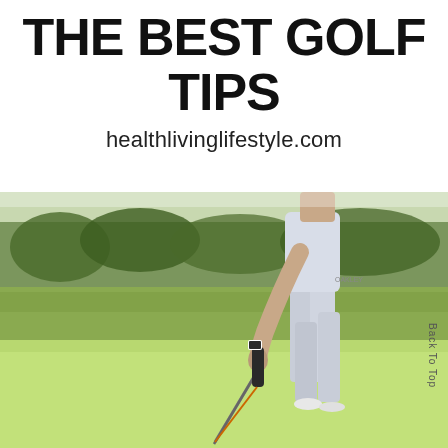THE BEST GOLF TIPS
healthlivinglifestyle.com
[Figure (photo): A golfer in light grey pants and shirt, bent forward putting on a golf green, with a golf club in hand. Background shows green fairway and trees.]
Back To Top